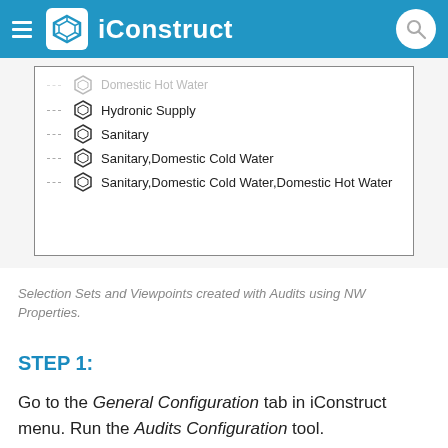iConstruct
[Figure (screenshot): A UI list showing pipe system types with hexagon icons: Domestic Hot Water (partially visible), Hydronic Supply, Sanitary, Sanitary,Domestic Cold Water, Sanitary,Domestic Cold Water,Domestic Hot Water]
Selection Sets and Viewpoints created with Audits using NW Properties.
STEP 1:
Go to the General Configuration tab in iConstruct menu. Run the Audits Configuration tool.